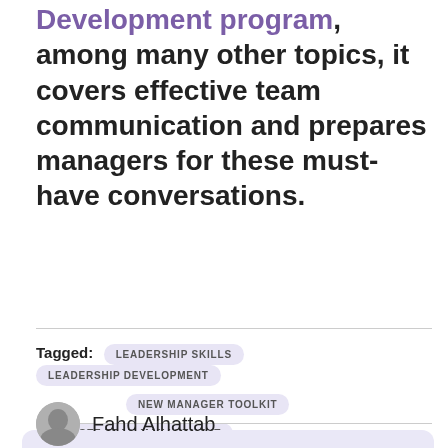Development program, among many other topics, it covers effective team communication and prepares managers for these must-have conversations.
Tagged: LEADERSHIP SKILLS  LEADERSHIP DEVELOPMENT  NEW MANAGER TOOLKIT  REMOTE TEAM MANAGEMENT
This website uses cookies to personalize content and improve your experience. For more information about our Privacy Policy Click here.
Fahd Alhattab